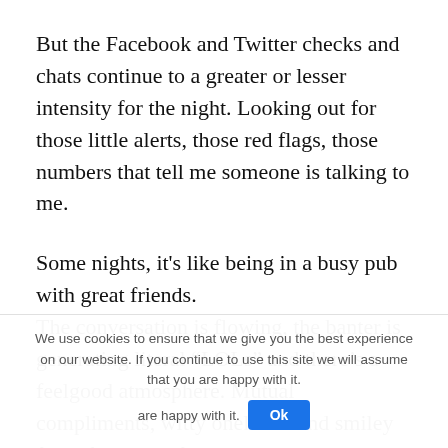But the Facebook and Twitter checks and chats continue to a greater or lesser intensity for the night. Looking out for those little alerts, those red flags, those numbers that tell me someone is talking to me.
Some nights, it's like being in a busy pub with great friends.
The conversation is flowing, the banter is generating literal “LOLs” and there’s a feelgood atmosphere. Mutual compliments, witty oneliners and smiley faces flow out of
We use cookies to ensure that we give you the best experience on our website. If you continue to use this site we will assume that you are happy with it.